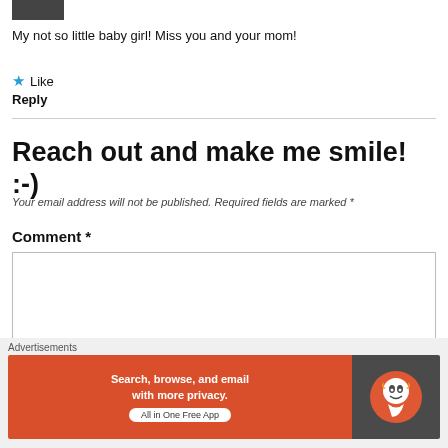[Figure (photo): Small cropped photo/avatar thumbnail in top-left corner]
My not so little baby girl! Miss you and your mom!
★ Like
Reply
Reach out and make me smile! :-)
Your email address will not be published. Required fields are marked *
Comment *
Advertisements
[Figure (screenshot): DuckDuckGo advertisement banner: 'Search, browse, and email with more privacy. All in One Free App' with DuckDuckGo logo on dark right panel]